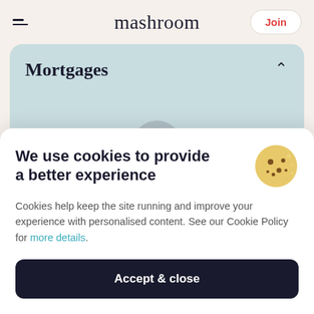mashroom
Mortgages
We use cookies to provide a better experience
Cookies help keep the site running and improve your experience with personalised content. See our Cookie Policy for more details.
Accept & close